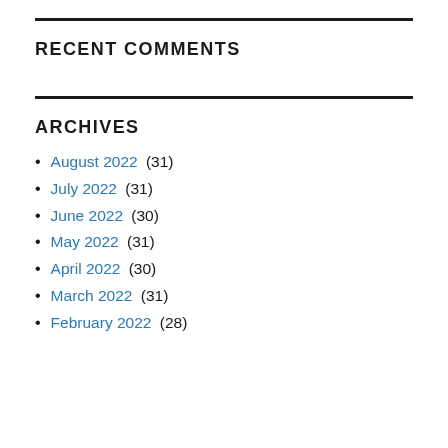RECENT COMMENTS
ARCHIVES
August 2022 (31)
July 2022 (31)
June 2022 (30)
May 2022 (31)
April 2022 (30)
March 2022 (31)
February 2022 (28)